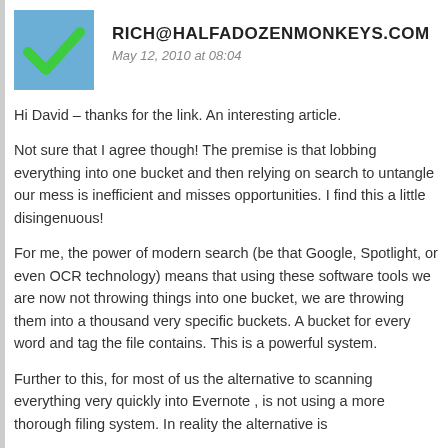RICH@HALFADOZENMONKEYS.COM
May 12, 2010 at 08:04
Hi David – thanks for the link. An interesting article.
Not sure that I agree though! The premise is that lobbing everything into one bucket and then relying on search to untangle our mess is inefficient and misses opportunities. I find this a little disingenuous!
For me, the power of modern search (be that Google, Spotlight, or even OCR technology) means that using these software tools we are now not throwing things into one bucket, we are throwing them into a thousand very specific buckets. A bucket for every word and tag the file contains. This is a powerful system.
Further to this, for most of us the alternative to scanning everything very quickly into Evernote , is not using a more thorough filing system. In reality the alternative is